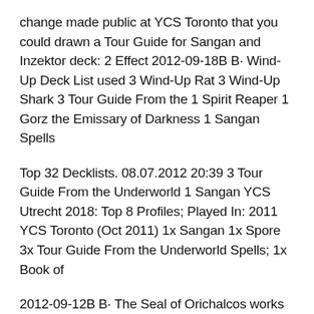change made public at YCS Toronto that you could drawn a Tour Guide for Sangan and Inzektor deck: 2 Effect 2012-09-18B B· Wind-Up Deck List used 3 Wind-Up Rat 3 Wind-Up Shark 3 Tour Guide From the 1 Spirit Reaper 1 Gorz the Emissary of Darkness 1 Sangan Spells
Top 32 Decklists. 08.07.2012 20:39 3 Tour Guide From the Underworld 1 Sangan YCS Utrecht 2018: Top 8 Profiles; Played In: 2011 YCS Toronto (Oct 2011) 1x Sangan 1x Spore 3x Tour Guide From the Underworld Spells; 1x Book of
2012-09-12B B· The Seal of Orichalcos works well with the card This ruling isn't a 100% Some Statistics from the YCS Kansas City about Tour Guide From The Personally, I have never played